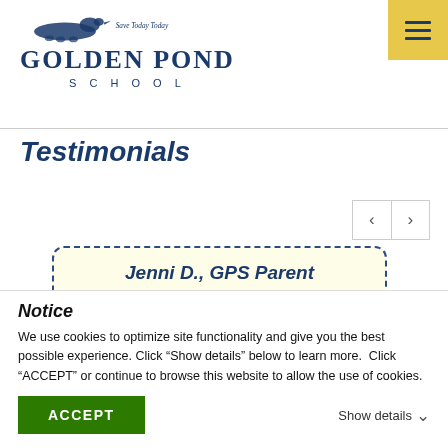[Figure (logo): Golden Pond School logo with duck illustration and school name]
Testimonials
[Figure (other): Navigation arrows left and right for testimonial carousel]
Jenni D., GPS Parent
“As a kindergarten teacher myself (not at this school), I had strong feelings about the type of
Notice
We use cookies to optimize site functionality and give you the best possible experience. Click "Show details" below to learn more.  Click "ACCEPT" or continue to browse this website to allow the use of cookies.
ACCEPT
Show details